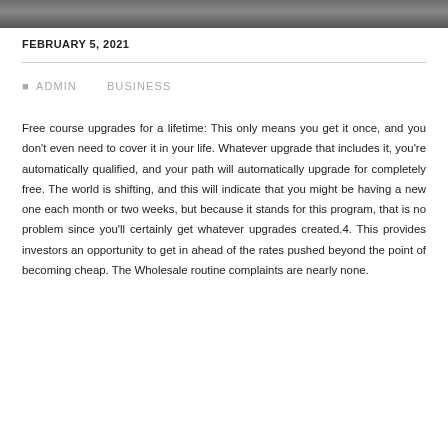[Figure (photo): Partial view of a person working at a desk, cropped at top of page]
FEBRUARY 5, 2021
ADMIN   BUSINESS
Free course upgrades for a lifetime: This only means you get it once, and you don't even need to cover it in your life. Whatever upgrade that includes it, you're automatically qualified, and your path will automatically upgrade for completely free. The world is shifting, and this will indicate that you might be having a new one each month or two weeks, but because it stands for this program, that is no problem since you'll certainly get whatever upgrades created.4. This provides investors an opportunity to get in ahead of the rates pushed beyond the point of becoming cheap. The Wholesale routine complaints are nearly none.